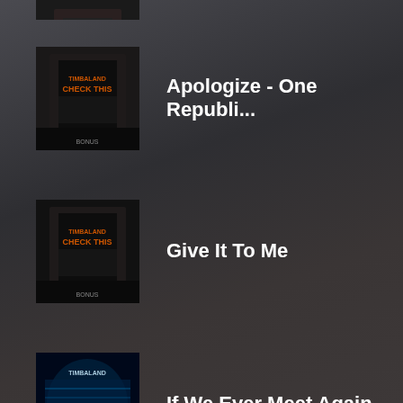[Figure (screenshot): Partial album art at top (cropped)]
Apologize - One Republi...
Give It To Me
If We Ever Meet Again
Carry Out
Say Something
Bounce